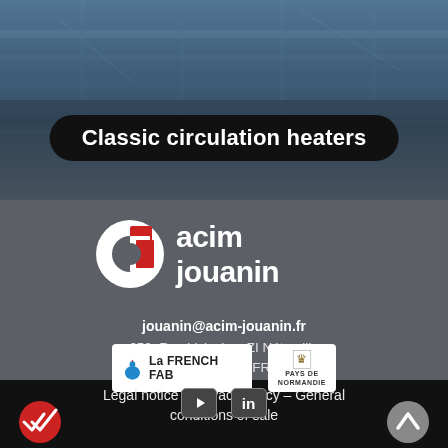[Figure (photo): Industrial machinery background photo with blue-grey tones showing factory equipment]
Classic circulation heaters
[Figure (logo): Acim Jouanin company logo — circular icon with red and white shapes plus white text 'acim jouanin']
jouanin@acim-jouanin.fr
650, Rue Vulcain – ZI Nétreville
27000 EVREUX – FRANCE
[Figure (logo): La French Fab badge logo with blue rooster icon]
[Figure (logo): Normandie region logo with heraldic lion and text NORMANDIE]
[Figure (logo): YouTube and LinkedIn social media icons]
Legal notice – Privacy policy – General conditions of sale